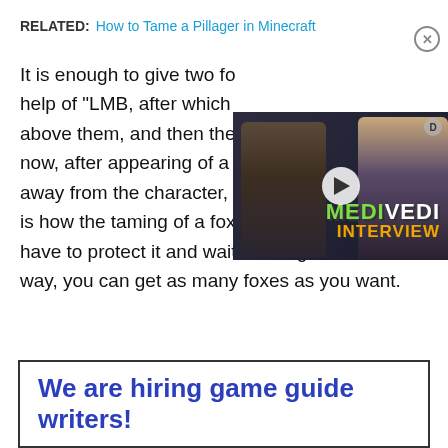RELATED: How to Tame a Pillager in Minecraft
[Figure (screenshot): Video overlay thumbnail showing two people with stylized MEDIVEDI INTERVIEW text overlay and a play button]
It is enough to give two fo… help of "LMB, after which … above them, and then the … now, after appearing of a new fox, it will not run away from the character, like the others. And this is how the taming of a fox ends. Now you just have to protect it and wait until it grows. This way, you can get as many foxes as you want.
We are hiring game guide writers!